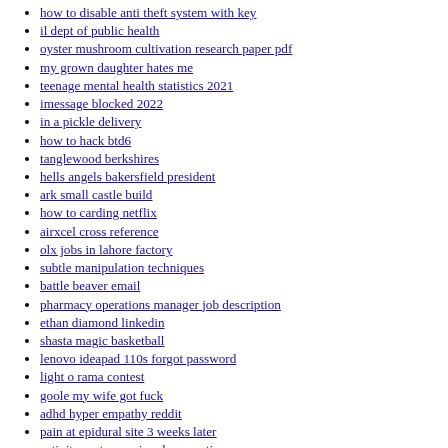how to disable anti theft system with key
il dept of public health
oyster mushroom cultivation research paper pdf
my grown daughter hates me
teenage mental health statistics 2021
imessage blocked 2022
in a pickle delivery
how to hack btd6
tanglewood berkshires
hells angels bakersfield president
ark small castle build
how to carding netflix
airxcel cross reference
olx jobs in lahore factory
subtle manipulation techniques
battle beaver email
pharmacy operations manager job description
ethan diamond linkedin
shasta magic basketball
lenovo ideapad 110s forgot password
light o rama contest
goole my wife got fuck
adhd hyper empathy reddit
pain at epidural site 3 weeks later
activity partners missed connections